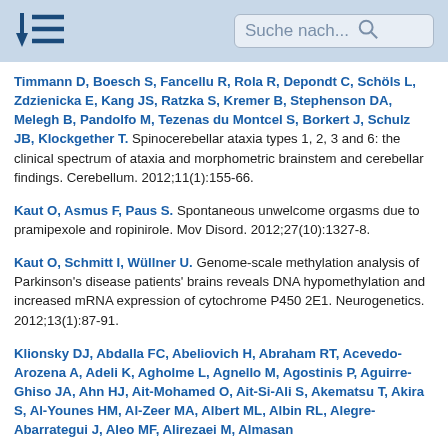Suche nach...
Timmann D, Boesch S, Fancellu R, Rola R, Depondt C, Schöls L, Zdzienicka E, Kang JS, Ratzka S, Kremer B, Stephenson DA, Melegh B, Pandolfo M, Tezenas du Montcel S, Borkert J, Schulz JB, Klockgether T. Spinocerebellar ataxia types 1, 2, 3 and 6: the clinical spectrum of ataxia and morphometric brainstem and cerebellar findings. Cerebellum. 2012;11(1):155-66.
Kaut O, Asmus F, Paus S. Spontaneous unwelcome orgasms due to pramipexole and ropinirole. Mov Disord. 2012;27(10):1327-8.
Kaut O, Schmitt I, Wüllner U. Genome-scale methylation analysis of Parkinson's disease patients' brains reveals DNA hypomethylation and increased mRNA expression of cytochrome P450 2E1. Neurogenetics. 2012;13(1):87-91.
Klionsky DJ, Abdalla FC, Abeliovich H, Abraham RT, Acevedo-Arozena A, Adeli K, Agholme L, Agnello M, Agostinis P, Aguirre-Ghiso JA, Ahn HJ, Ait-Mohamed O, Ait-Si-Ali S, Akematsu T, Akira S, Al-Younes HM, Al-Zeer MA, Albert ML, Albin RL, Alegre-Abarrategui J, Aleo MF, Alirezaei M, Almasan